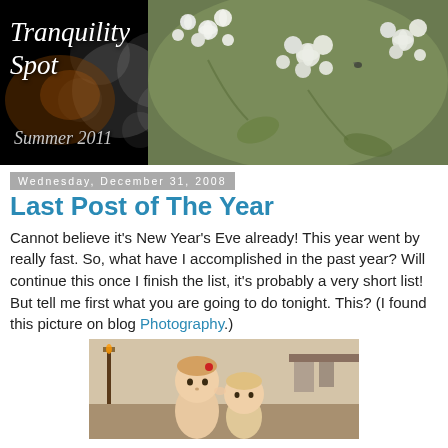[Figure (photo): Blog header image: 'Tranquility Spot' text on a dark background with white circular bokeh shapes on the left, and white floral clusters on a green background on the right. Text 'Summer 2011' at bottom left.]
Wednesday, December 31, 2008
Last Post of The Year
Cannot believe it's New Year's Eve already! This year went by really fast. So, what have I accomplished in the past year? Will continue this once I finish the list, it's probably a very short list! But tell me first what you are going to do tonight. This? (I found this picture on blog Photography.)
[Figure (photo): Photo of two young children (toddlers), one kissing or nuzzling the other, indoors with warm lighting.]